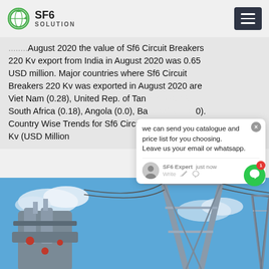SF6 SOLUTION
...August 2020 the value of Sf6 Circuit Breakers 220 Kv export from India in August 2020 was 0.65 USD million. Major countries where Sf6 Circuit Breakers 220 Kv was exported in August 2020 are Viet Nam (0.28), United Rep. of Tanzania (0.18), South Africa (0.18), Angola (0.0), Bangladesh (0.0). Country Wise Trends for Sf6 Circuit Breakers 220 Kv (USD Million
[Figure (photo): Electrical power substation with SF6 circuit breaker equipment, transmission tower structure visible against blue sky with clouds]